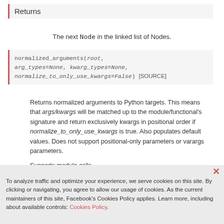Returns
The next Node in the linked list of Nodes.
normalized_arguments(root, arg_types=None, kwarg_types=None, normalize_to_only_use_kwargs=False) [SOURCE]
Returns normalized arguments to Python targets. This means that args/kwargs will be matched up to the module/functional's signature and return exclusively kwargs in positional order if normalize_to_only_use_kwargs is true. Also populates default values. Does not support positional-only parameters or varargs parameters.

Supports module calls.

May require arg_types and kwarg_types in order to disambiguate overloads.
To analyze traffic and optimize your experience, we serve cookies on this site. By clicking or navigating, you agree to allow our usage of cookies. As the current maintainers of this site, Facebook's Cookies Policy applies. Learn more, including about available controls: Cookies Policy.